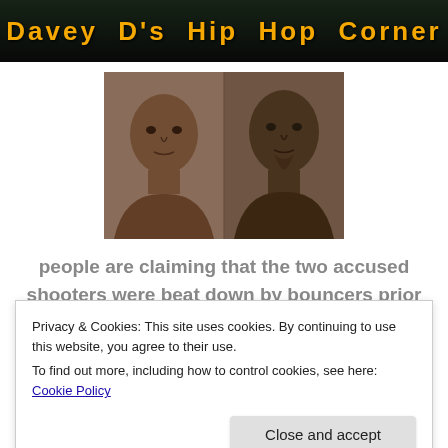Davey D's Hip Hop Corner
[Figure (photo): Two mugshot-style photographs of two young men side by side, sepia/dark toned]
people are claiming that the two accused shooters were beat down by bouncers prior to the Spiros
Privacy & Cookies: This site uses cookies. By continuing to use this website, you agree to their use.
To find out more, including how to control cookies, see here: Cookie Policy
Close and accept